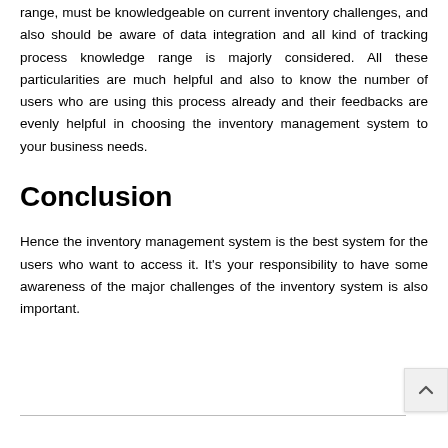range, must be knowledgeable on current inventory challenges, and also should be aware of data integration and all kind of tracking process knowledge range is majorly considered. All these particularities are much helpful and also to know the number of users who are using this process already and their feedbacks are evenly helpful in choosing the inventory management system to your business needs.
Conclusion
Hence the inventory management system is the best system for the users who want to access it. It's your responsibility to have some awareness of the major challenges of the inventory system is also important.